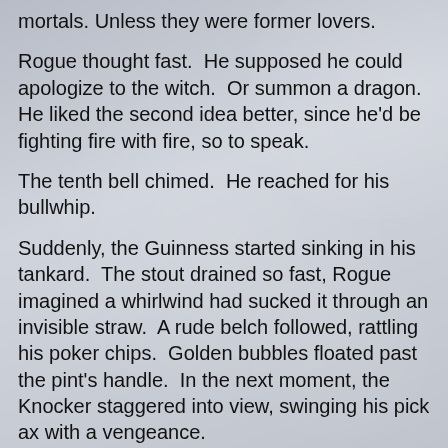mortals. Unless they were former lovers.
Rogue thought fast.  He supposed he could apologize to the witch.  Or summon a dragon.  He liked the second idea better, since he'd be fighting fire with fire, so to speak.
The tenth bell chimed.  He reached for his bullwhip.
Suddenly, the Guinness started sinking in his tankard.  The stout drained so fast, Rogue imagined a whirlwind had sucked it through an invisible straw.  A rude belch followed, rattling his poker chips.  Golden bubbles floated past the pint's handle.  In the next moment, the Knocker staggered into view, swinging his pick ax with a vengeance.
*Scat, cat!* the dwarf roared, jabbing at the maneater's nose.  *No Irish beer finger is big enough for the both of us!*
Cora hissed, her eyes slitting in defeat.  With a scowl